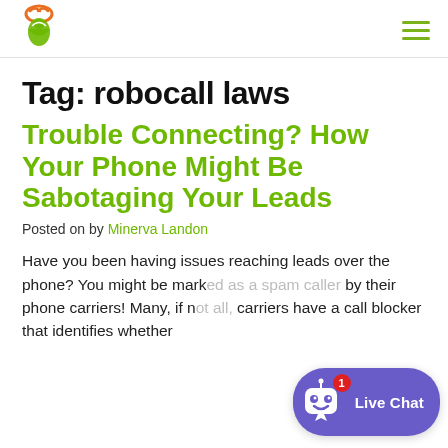Tag: robocall laws
Trouble Connecting? How Your Phone Might Be Sabotaging Your Leads
Posted on by Minerva Landon
Have you been having issues reaching leads over the phone? You might be marked as a spam caller by their phone carriers! Many, if not all, carriers have a call blocker that identifies whether certain callers are spam callers. You might be the